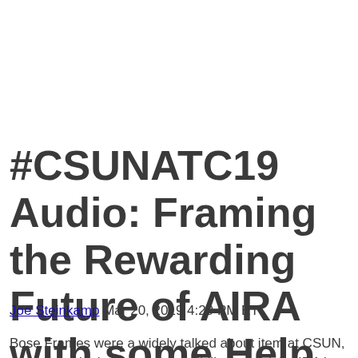#CSUNATC19 Audio: Framing the Rewarding Future of AIRA with some Help from Bose
Joe Steinkamp  Mar 20, 2019 4:29 PM ET
Bose Frames were a widely talked about item at CSUN, and one with significant accessibility potential. AIRA is one